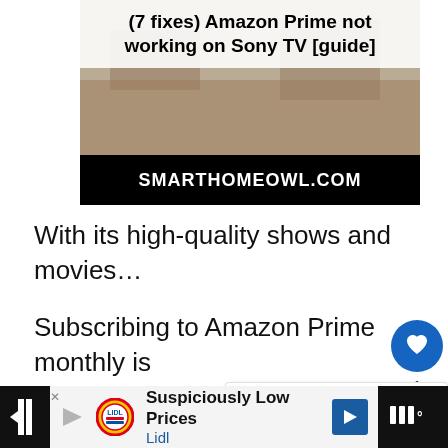[Figure (screenshot): Thumbnail image showing blog post title '(7 fixes) Amazon Prime not working on Sony TV [guide]' with SMARTHOMEOWL.COM branding on black bar at bottom]
With its high-quality shows and movies…
Subscribing to Amazon Prime monthly is more than worth it.
But not when it suddenly stops working on your Sony TV, right?
[Figure (screenshot): What's Next widget showing thumbnail and text '(5 Fixes) Amazon Pri...']
[Figure (screenshot): Lidl advertisement banner: 'Suspiciously Low Prices / Lidl']